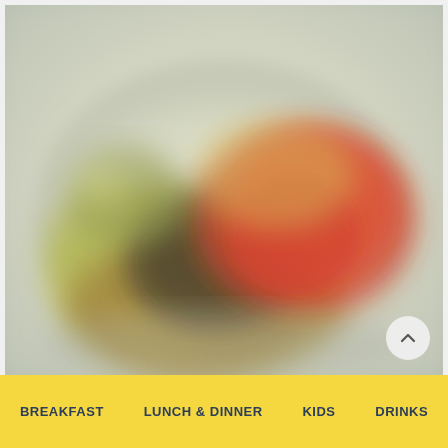[Figure (photo): Blurry close-up photo of a food item on a plate, featuring red, yellow, and green colors suggesting a burger or sandwich with toppings, set against a light background.]
BREAKFAST
LUNCH & DINNER
KIDS
DRINKS